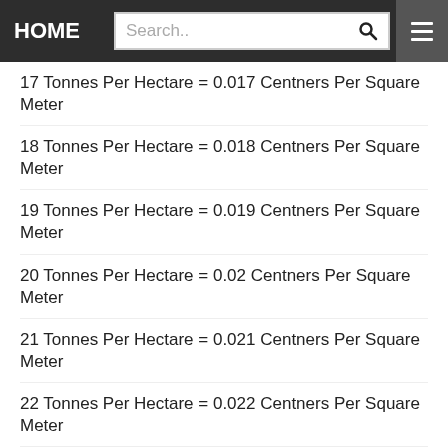HOME | Search..
17 Tonnes Per Hectare = 0.017 Centners Per Square Meter
18 Tonnes Per Hectare = 0.018 Centners Per Square Meter
19 Tonnes Per Hectare = 0.019 Centners Per Square Meter
20 Tonnes Per Hectare = 0.02 Centners Per Square Meter
21 Tonnes Per Hectare = 0.021 Centners Per Square Meter
22 Tonnes Per Hectare = 0.022 Centners Per Square Meter
23 Tonnes Per Hectare = 0.023 Centners Per Square Meter
24 Tonnes Per Hectare = 0.024 Centners Per Square Meter
25 Tonnes Per Hectare = 0.025 Centners Per Square Meter
26 Tonnes Per Hectare = 0.026 Centners Per Square Meter
27 Tonnes Per Hectare = 0.027 Centners Per Square Meter